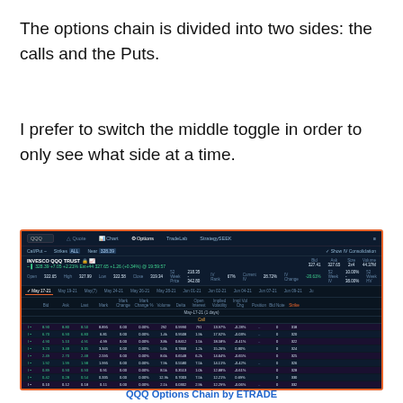The options chain is divided into two sides: the calls and the Puts.
I prefer to switch the middle toggle in order to only see what side at a time.
[Figure (screenshot): Screenshot of a trading platform showing an options chain for INVESCO QQQ TRUST. The interface shows a dark-themed options chain with columns for Bid, Ask, Last, Mark, Mark Change, Mark Change %, Volume, Delta, Open Interest, Implied Volatility, Impl Vol Chg, Position, Bid Note, and Strike. Multiple expiration tabs are visible. Call options data rows are shown with green values for in-the-money options. Strike prices visible: 318, 320, 322, 324, 325, 326, 328, 330, 332.]
QQQ Options Chain by ETRADE